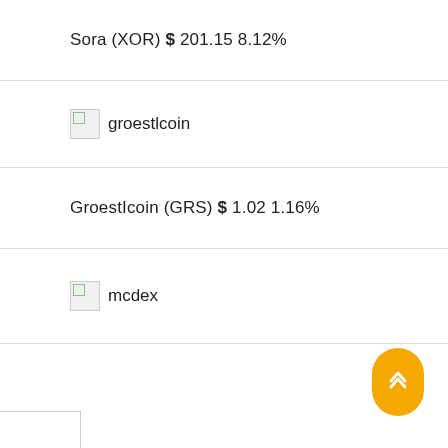Sora (XOR) $ 201.15 8.12%
[Figure (illustration): Broken image placeholder for groestlcoin logo with alt text 'groestlcoin']
GroestIcoin (GRS) $ 1.02 1.16%
[Figure (illustration): Broken image placeholder for mcdex logo with alt text 'mcdex']